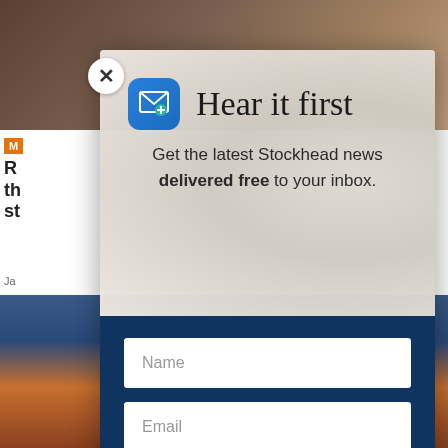[Figure (screenshot): Background showing horse racing photo at top and landscape/sunset at bottom, with a partially visible article on the left side.]
[Figure (screenshot): Close button (X) in white circle at top-left of modal.]
Hear it first
Get the latest Stockhead news delivered free to your inbox.
Name
Email
SIGN ME UP